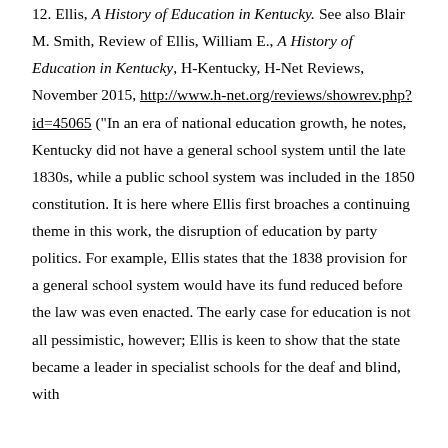12. Ellis, A History of Education in Kentucky. See also Blair M. Smith, Review of Ellis, William E., A History of Education in Kentucky, H-Kentucky, H-Net Reviews, November 2015, http://www.h-net.org/reviews/showrev.php?id=45065 ("In an era of national education growth, he notes, Kentucky did not have a general school system until the late 1830s, while a public school system was included in the 1850 constitution. It is here where Ellis first broaches a continuing theme in this work, the disruption of education by party politics. For example, Ellis states that the 1838 provision for a general school system would have its fund reduced before the law was even enacted. The early case for education is not all pessimistic, however; Ellis is keen to show that the state became a leader in specialist schools for the deaf and blind, with Kentucky acquiring a "S...